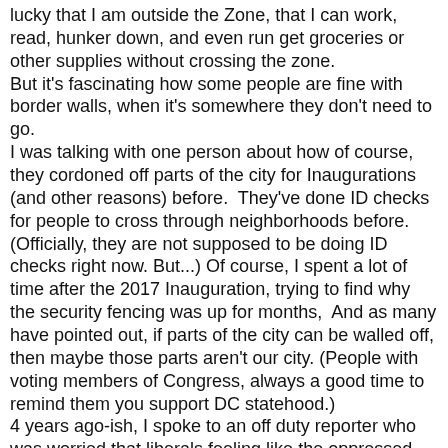lucky that I am outside the Zone, that I can work, read, hunker down, and even run get groceries or other supplies without crossing the zone. But it's fascinating how some people are fine with border walls, when it's somewhere they don't need to go. I was talking with one person about how of course, they cordoned off parts of the city for Inaugurations (and other reasons) before.  They've done ID checks for people to cross through neighborhoods before.  (Officially, they are not supposed to be doing ID checks right now. But...) Of course, I spent a lot of time after the 2017 Inauguration, trying to find why the security fencing was up for months,  And as many have pointed out, if parts of the city can be walled off, then maybe those parts aren't our city. (People with voting members of Congress, always a good time to remind them you support DC statehood.) 4 years ago-ish, I spoke to an off duty reporter who was worried that liberals feeling like the oppressed minority would make them more susceptible to false stories. I haven't seen that much.  But I have seen people become really comfortable with things like ID checks and border walls when it's to protect what they perceive as their people.  I have seen people - and look, pandemic plus news cycle - it's hard